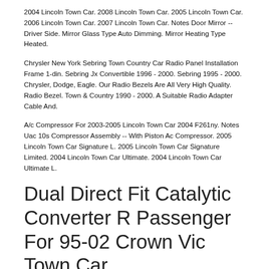2004 Lincoln Town Car. 2008 Lincoln Town Car. 2005 Lincoln Town Car. 2006 Lincoln Town Car. 2007 Lincoln Town Car. Notes Door Mirror -- Driver Side. Mirror Glass Type Auto Dimming. Mirror Heating Type Heated.
Chrysler New York Sebring Town Country Car Radio Panel Installation Frame 1-din. Sebring Jx Convertible 1996 - 2000. Sebring 1995 - 2000. Chrysler, Dodge, Eagle. Our Radio Bezels Are All Very High Quality. Radio Bezel. Town & Country 1990 - 2000. A Suitable Radio Adapter Cable And.
A/c Compressor For 2003-2005 Lincoln Town Car 2004 F261ny. Notes Uac 10s Compressor Assembly -- With Piston Ac Compressor. 2005 Lincoln Town Car Signature L. 2005 Lincoln Town Car Signature Limited. 2004 Lincoln Town Car Ultimate. 2004 Lincoln Town Car Ultimate L.
Dual Direct Fit Catalytic Converter R Passenger For 95-02 Crown Vic Town Car
1995-02 Ford Crown Victoria V8 4.6l Front Passenger Side